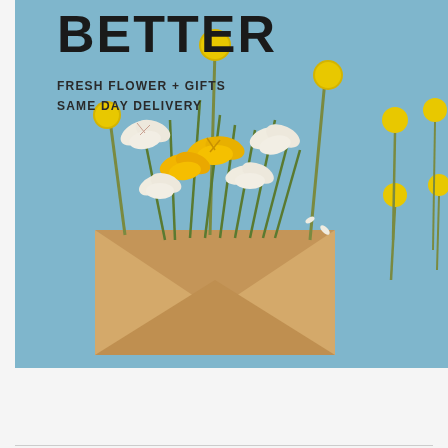[Figure (photo): Flower delivery advertisement showing white and yellow alstroemeria flowers with round yellow billy balls spilling out of a kraft paper envelope, on a light blue background. Text overlay reads BETTER and FRESH FLOWER + GIFTS / SAME DAY DELIVERY.]
BETTER
FRESH FLOWER + GIFTS
SAME DAY DELIVERY